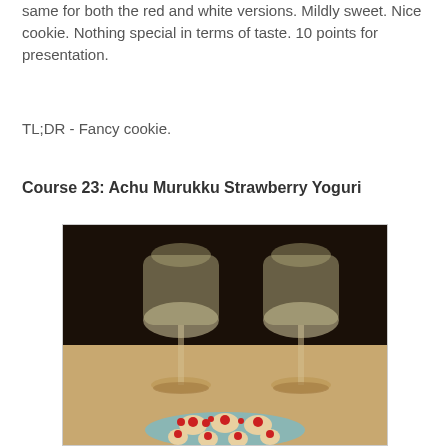same for both the red and white versions. Mildly sweet. Nice cookie. Nothing special in terms of taste. 10 points for presentation.
TL;DR - Fancy cookie.
Course 23: Achu Murukku Strawberry Yoguri
[Figure (photo): Photo showing two wine glasses on a wooden table with a plate of decorative cookies (Achu Murukku) topped with red cherries/berries in the foreground.]